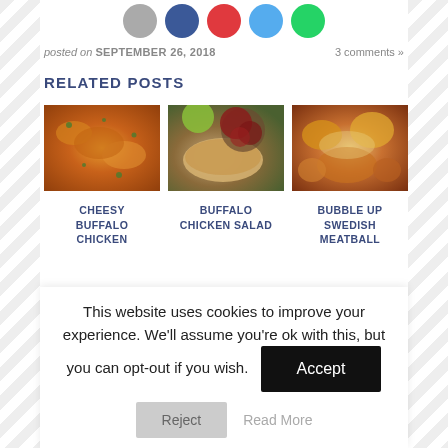[Figure (illustration): Partial row of social media share buttons (circular icons): grey, blue (Facebook), red (Pinterest), light blue (Twitter), green (WhatsApp)]
posted on SEPTEMBER 26, 2018
3 comments »
RELATED POSTS
[Figure (photo): Close-up of cheesy buffalo chicken potato bake casserole with green onions on top, orange cheesy color]
[Figure (photo): Buffalo chicken salad wrap on a plate with red grapes, green apple in background]
[Figure (photo): Bubble up Swedish meatball casserole, cheesy bubbly baked dish]
CHEESY BUFFALO CHICKEN
BUFFALO CHICKEN SALAD
BUBBLE UP SWEDISH MEATBALL CASSEROLE
This website uses cookies to improve your experience. We'll assume you're ok with this, but you can opt-out if you wish.
Accept
Reject
Read More